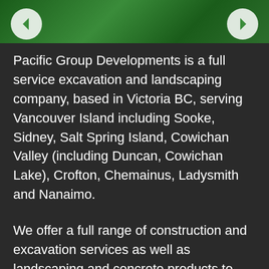[Figure (other): Green header banner with left and right navigation arrow buttons]
Pacific Group Developments is a full service excavation and landscaping company, based in Victoria BC, serving Vancouver Island including Sooke, Sidney, Salt Spring Island, Cowichan Valley (including Duncan, Cowichan Lake), Crofton, Chemainus, Ladysmith and Nanaimo.
We offer a full range of construction and excavation services as well as landscaping and concrete products to assist and facilitate every aspect of your project.
Asphalt and Concrete Removal Victoria
Best Construction Companies in Victoria,